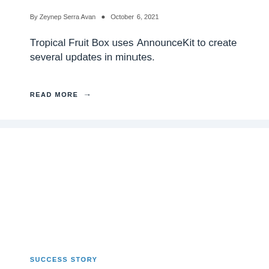By Zeynep Serra Avan • October 6, 2021
Tropical Fruit Box uses AnnounceKit to create several updates in minutes.
READ MORE →
SUCCESS STORY